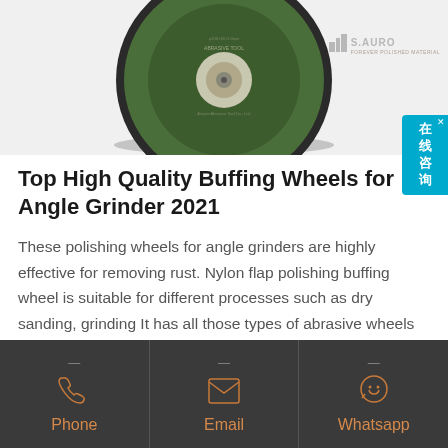[Figure (photo): Circular abrasive/buffing wheel disc for angle grinder, dark green top face with text and product details visible, dark rim, partially cropped at top. S.AURO brand logo visible top right.]
Top High Quality Buffing Wheels for Angle Grinder 2021
These polishing wheels for angle grinders are highly effective for removing rust. Nylon flap polishing buffing wheel is suitable for different processes such as dry sanding, grinding It has all those types of abrasive wheels that are used more such as felt buffing disc, flap disc, and strip disc.
Phone  Email  Whatsapp